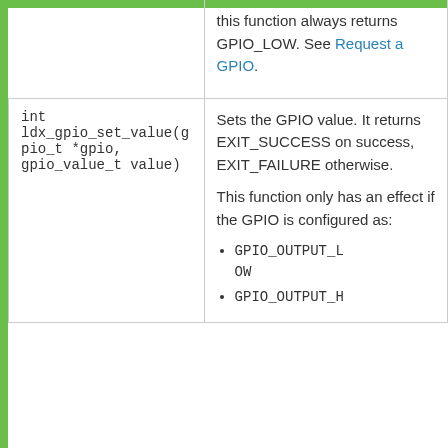| Function | Description |
| --- | --- |
|  | this function always returns GPIO_LOW. See Request a GPIO. |
| int ldx_gpio_set_value(gpio_t *gpio, gpio_value_t value) | Sets the GPIO value. It returns EXIT_SUCCESS on success, EXIT_FAILURE otherwise.

This function only has an effect if the GPIO is configured as:
• GPIO_OUTPUT_LOW
• GPIO_OUTPUT_H |